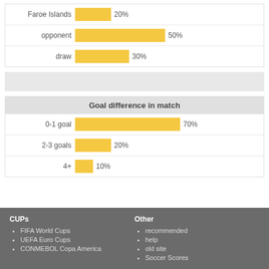[Figure (bar-chart): ]
[Figure (bar-chart): Goal difference in match]
CUPs: FIFA World Cups, UEFA Euro Cups, CONMEBOL Copa America
Other: recommended, help, old site, Soccer Scores